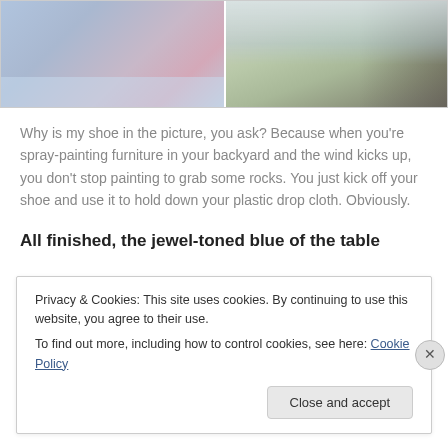[Figure (photo): Two side-by-side photos: left shows a table being spray-painted blue on a plastic drop cloth outdoors; right shows a roll of plastic sheeting on grass with a shoe holding it down.]
Why is my shoe in the picture, you ask? Because when you're spray-painting furniture in your backyard and the wind kicks up, you don't stop painting to grab some rocks. You just kick off your shoe and use it to hold down your plastic drop cloth. Obviously.
All finished, the jewel-toned blue of the table
Privacy & Cookies: This site uses cookies. By continuing to use this website, you agree to their use.
To find out more, including how to control cookies, see here: Cookie Policy